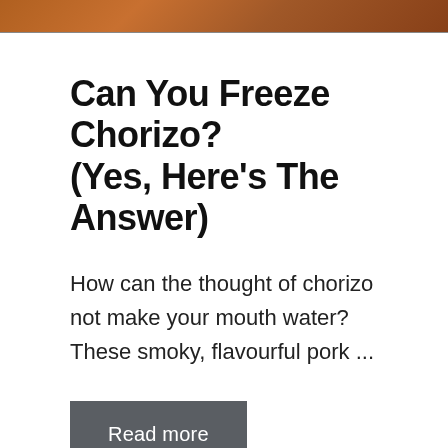[Figure (photo): Top portion of a food photo showing chorizo, partially cropped at top of page]
Can You Freeze Chorizo? (Yes, Here’s The Answer)
How can the thought of chorizo not make your mouth water? These smoky, flavourful pork ...
Read more